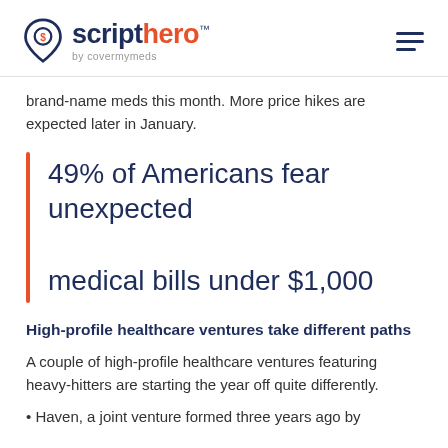scripthero™ by covermymeds
brand-name meds this month. More price hikes are expected later in January.
49% of Americans fear unexpected medical bills under $1,000
High-profile healthcare ventures take different paths
A couple of high-profile healthcare ventures featuring heavy-hitters are starting the year off quite differently.
Haven, a joint venture formed three years ago by